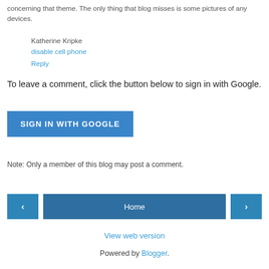concerning that theme. The only thing that blog misses is some pictures of any devices.
Katherine Kripke
disable cell phone
Reply
To leave a comment, click the button below to sign in with Google.
SIGN IN WITH GOOGLE
Note: Only a member of this blog may post a comment.
Home
View web version
Powered by Blogger.